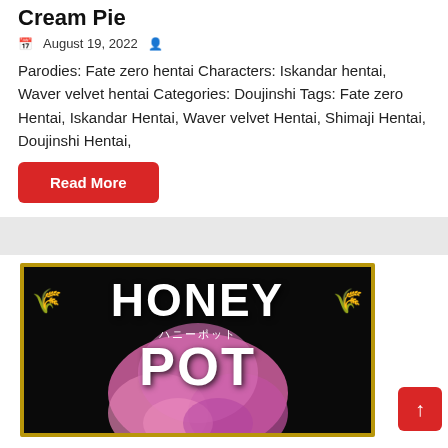Cream Pie
August 19, 2022
Parodies: Fate zero hentai Characters: Iskandar hentai, Waver velvet hentai Categories: Doujinshi Tags: Fate zero Hentai, Iskandar Hentai, Waver velvet Hentai, Shimaji Hentai, Doujinshi Hentai,
Read More
[Figure (illustration): Manga cover image showing 'HONEY POT' text in large white bold letters on dark background with gold border, pink-haired anime character, and gold wheat decorations on sides]